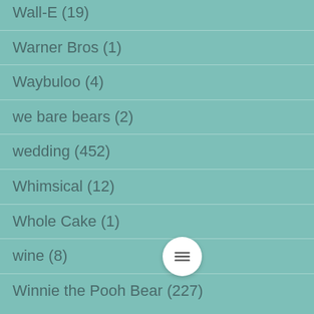Wall-E (19)
Warner Bros (1)
Waybuloo (4)
we bare bears (2)
wedding (452)
Whimsical (12)
Whole Cake (1)
wine (8)
Winnie the Pooh Bear (227)